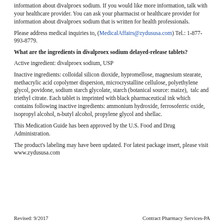information about divalproex sodium. If you would like more information, talk with your healthcare provider. You can ask your pharmacist or healthcare provider for information about divalproex sodium that is written for health professionals.
Please address medical inquiries to, (MedicalAffairs@zydususa.com) Tel.: 1-877-993-8779.
What are the ingredients in divalproex sodium delayed-release tablets?
Active ingredient: divalproex sodium, USP
Inactive ingredients: colloidal silicon dioxide, hypromellose, magnesium stearate, methacrylic acid copolymer dispersion, microcrystalline cellulose, polyethylene glycol, povidone, sodium starch glycolate, starch (botanical source: maize),  talc and triethyl citrate. Each tablet is imprinted with black pharmaceutical ink which contains following inactive ingredients: ammonium hydroxide, ferrosoferric oxide, isopropyl alcohol, n-butyl alcohol, propylene glycol and shellac.
This Medication Guide has been approved by the U.S. Food and Drug Administration.
The product's labeling may have been updated. For latest package insert, please visit www.zydususa.com
Revised: 9/2017    Contract Pharmacy Services-PA